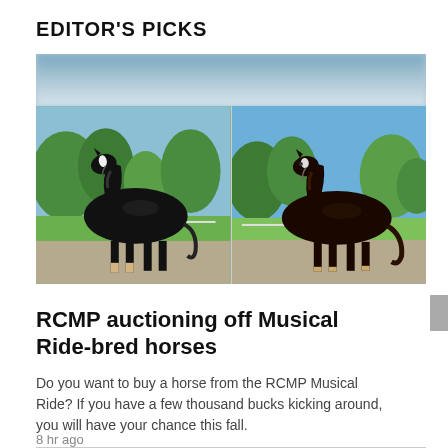EDITOR'S PICKS
[Figure (photo): Two black horses standing side by side outdoors on a paved surface with green trees and blue sky in the background — RCMP Musical Ride horses]
RCMP auctioning off Musical Ride-bred horses
Do you want to buy a horse from the RCMP Musical Ride? If you have a few thousand bucks kicking around, you will have your chance this fall.
8 hr ago